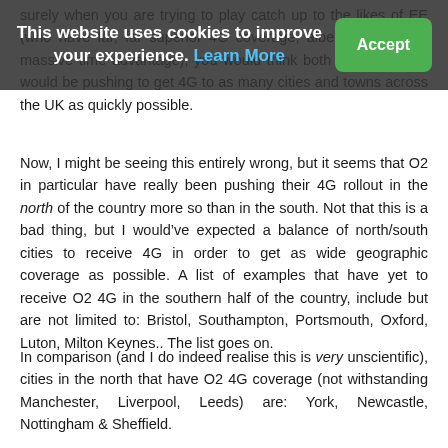surely when you are trying to play catch up to the likes of EE (who have far, far superior 4G coverage, albeit due to their massive time advantage), you would think both and Vodafone would be pushing to get 4G to as many cities and towns across the UK as quickly possible.
This website uses cookies to improve your experience. Learn More
Now, I might be seeing this entirely wrong, but it seems that O2 in particular have really been pushing their 4G rollout in the north of the country more so than in the south. Not that this is a bad thing, but I would’ve expected a balance of north/south cities to receive 4G in order to get as wide geographic coverage as possible. A list of examples that have yet to receive O2 4G in the southern half of the country, include but are not limited to: Bristol, Southampton, Portsmouth, Oxford, Luton, Milton Keynes.. The list goes on.
In comparison (and I do indeed realise this is very unscientific), cities in the north that have O2 4G coverage (not withstanding Manchester, Liverpool, Leeds) are: York, Newcastle, Nottingham & Sheffield.